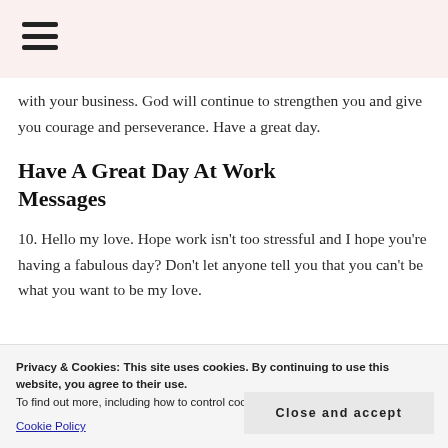with your business. God will continue to strengthen you and give you courage and perseverance. Have a great day.
Have A Great Day At Work Messages
10. Hello my love. Hope work isn't too stressful and I hope you're having a fabulous day? Don't let anyone tell you that you can't be what you want to be my love.
wanted to send a text to remind you that I
Privacy & Cookies: This site uses cookies. By continuing to use this website, you agree to their use.
To find out more, including how to control cookies, see here:
Cookie Policy
Close and accept